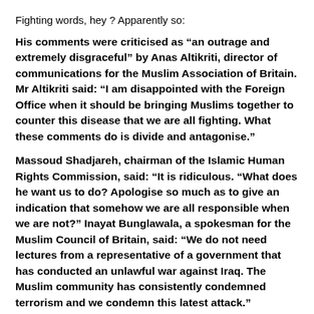Fighting words, hey ? Apparently so:
His comments were criticised as “an outrage and extremely disgraceful” by Anas Altikriti, director of communications for the Muslim Association of Britain. Mr Altikriti said: “I am disappointed with the Foreign Office when it should be bringing Muslims together to counter this disease that we are all fighting. What these comments do is divide and antagonise.”
Massoud Shadjareh, chairman of the Islamic Human Rights Commission, said: “It is ridiculous. “What does he want us to do? Apologise so much as to give an indication that somehow we are all responsible when we are not?” Inayat Bunglawala, a spokesman for the Muslim Council of Britain, said: “We do not need lectures from a representative of a government that has conducted an unlawful war against Iraq. The Muslim community has consistently condemned terrorism and we condemn this latest attack.”
Except, would you believe it, up in the top bit of Wales, this